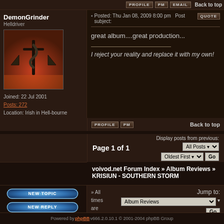PROFILE  PM  EMAIL  Back to top
DemonGrinder
Helldriver
Joined: 22 Jul 2001
Posts: 272
Location: Irish in Hell-bourne
Posted: Thu Jan 08, 2009 8:00 pm  Post subject:
great album....great production...
I reject your reality and replace it with my own!
PROFILE  PM  Back to top
Page 1 of 1
Display posts from previous: All Posts  Oldest First  Go
voivod.net Forum Index » Album Reviews » KRISIUN - SOUTHERN STORM
» All times are GMT - 4 Hours
Jump to: Album Reviews  Go
Powered by phpBB v666.2.0.10.1 © 2001-2004 phpBB Group